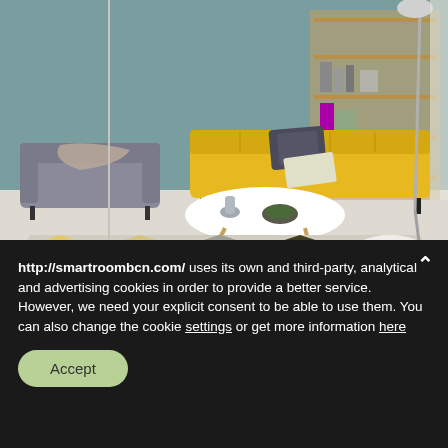[Figure (photo): Interior design photo of a modern living room with a yellow tufted sofa, grey armchair, white oval coffee table, geometric patterned rug in yellow and grey, and a bookshelf against a teal/grey-green wall.]
Design Trends 2019 by Pinterest
Decoration, design, innovation, inspiration
http://smartroombcn.com/ uses its own and third-party, analytical and advertising cookies in order to provide a better service. However, we need your explicit consent to be able to use them. You can also change the cookie settings or get more information here
Accept